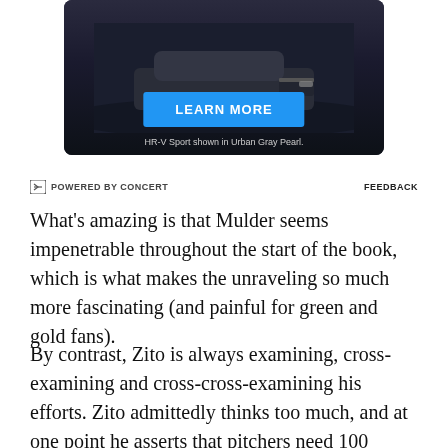[Figure (photo): Advertisement showing a dark SUV (Honda HR-V Sport in Urban Gray Pearl) on a dark background with a blue LEARN MORE button and caption text]
⊟ POWERED BY CONCERT    FEEDBACK
What's amazing is that Mulder seems impenetrable throughout the start of the book, which is what makes the unraveling so much more fascinating (and painful for green and gold fans).
By contrast, Zito is always examining, cross-examining and cross-cross-examining his efforts. Zito admittedly thinks too much, and at one point he asserts that pitchers need 100 percent self-confidence on the